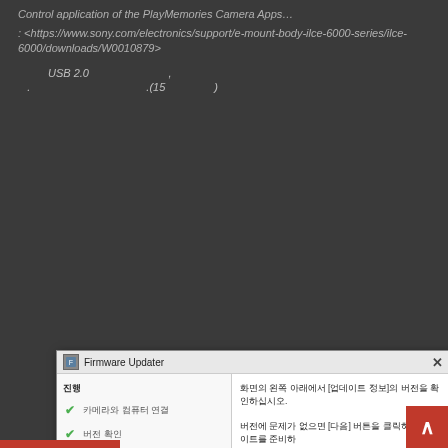Control application of the PlayMemories Camera Apps…
: <https://www.sony.com/electronics/support/e-mount-body-ilce-6000-series/ilce-6000/downloads/W0010879>
USB 2.0 ,
. .(15 )
[Figure (screenshot): Firmware Updater dialog box in Korean showing steps: camera and computer connection (checked), version confirmation (checked), camera update preparation (active/current step), camera reset, update complete, update finish. Right panel shows Korean instructions. Bottom shows update info with current version Ver.3.10 and update version Ver.3.20, with Next and Finish buttons.]